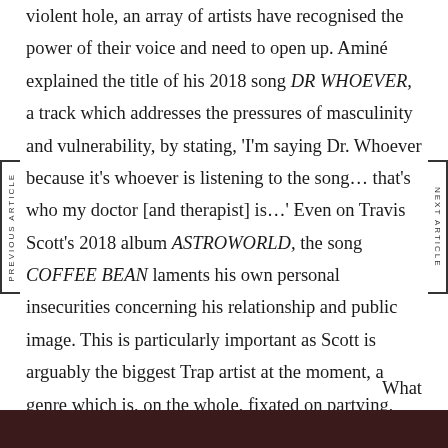violent hole, an array of artists have recognised the power of their voice and need to open up. Aminé explained the title of his 2018 song DR WHOEVER, a track which addresses the pressures of masculinity and vulnerability, by stating, 'I'm saying Dr. Whoever because it's whoever is listening to the song… that's who my doctor [and therapist] is…' Even on Travis Scott's 2018 album ASTROWORLD, the song COFFEE BEAN laments his own personal insecurities concerning his relationship and public image. This is particularly important as Scott is arguably the biggest Trap artist at the moment, a genre which is, on the whole, fixated on partying, drugs and money.
What